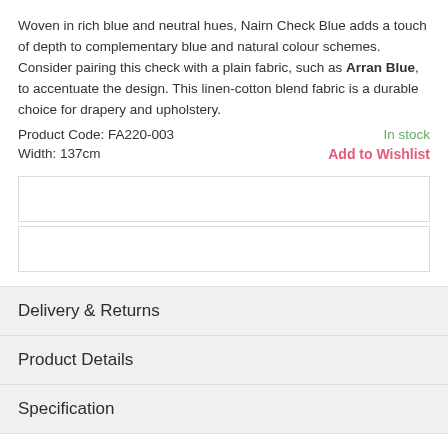Woven in rich blue and neutral hues, Nairn Check Blue adds a touch of depth to complementary blue and natural colour schemes. Consider pairing this check with a plain fabric, such as Arran Blue, to accentuate the design. This linen-cotton blend fabric is a durable choice for drapery and upholstery.
Product Code: FA220-003    In stock
Width: 137cm    Add to Wishlist
Delivery & Returns
Product Details
Specification